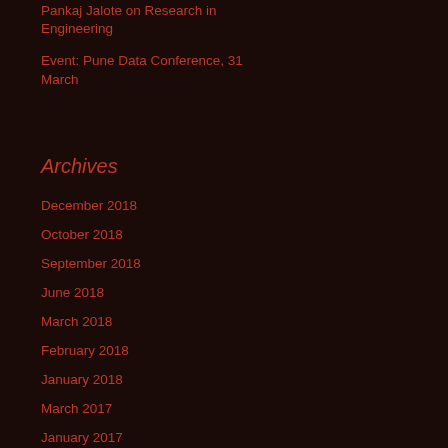Pankaj Jalote on Research in Engineering
Event: Pune Data Conference, 31 March
Archives
December 2018
October 2018
September 2018
June 2018
March 2018
February 2018
January 2018
March 2017
January 2017